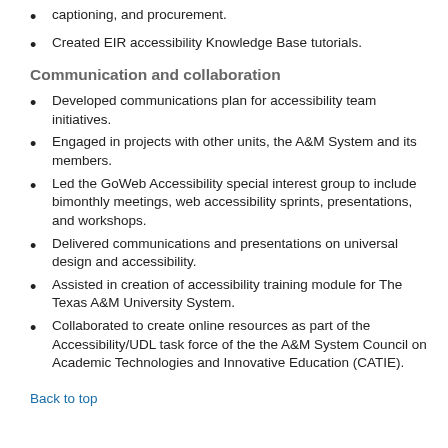captioning, and procurement.
Created EIR accessibility Knowledge Base tutorials.
Communication and collaboration
Developed communications plan for accessibility team initiatives.
Engaged in projects with other units, the A&M System and its members.
Led the GoWeb Accessibility special interest group to include bimonthly meetings, web accessibility sprints, presentations, and workshops.
Delivered communications and presentations on universal design and accessibility.
Assisted in creation of accessibility training module for The Texas A&M University System.
Collaborated to create online resources as part of the Accessibility/UDL task force of the the A&M System Council on Academic Technologies and Innovative Education (CATIE).
Back to top